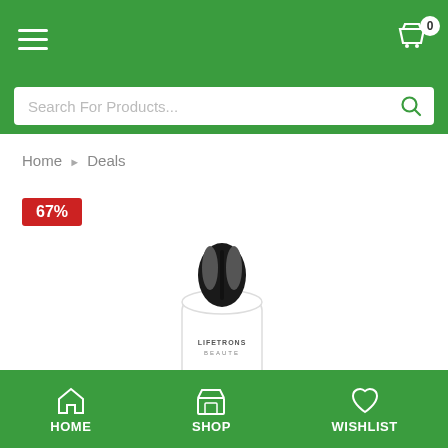Navigation bar with hamburger menu and cart icon showing 0 items
Search For Products...
Home › Deals
[Figure (photo): A white Lifetrons Beaute personal grooming device shown from the top down view, with a black chrome tip. A red badge shows 67% discount.]
HOME | SHOP | WISHLIST